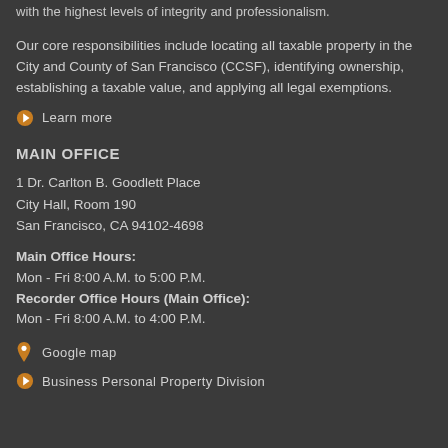with the highest levels of integrity and professionalism.
Our core responsibilities include locating all taxable property in the City and County of San Francisco (CCSF), identifying ownership, establishing a taxable value, and applying all legal exemptions.
Learn more
MAIN OFFICE
1 Dr. Carlton B. Goodlett Place
City Hall, Room 190
San Francisco, CA 94102-4698
Main Office Hours:
Mon - Fri 8:00 A.M. to 5:00 P.M.
Recorder Office Hours (Main Office):
Mon - Fri 8:00 A.M. to 4:00 P.M.
Google map
Business Personal Property Division